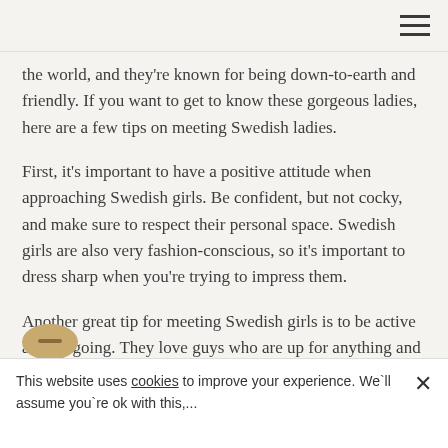the world, and they're known for being down-to-earth and friendly. If you want to get to know these gorgeous ladies, here are a few tips on meeting Swedish ladies.
First, it's important to have a positive attitude when approaching Swedish girls. Be confident, but not cocky, and make sure to respect their personal space. Swedish girls are also very fashion-conscious, so it's important to dress sharp when you're trying to impress them.
Another great tip for meeting Swedish girls is to be active and outgoing. They love guys who are up for anything and have fun, so be sure to show them that you're adventurous!
This website uses cookies to improve your experience. We`ll assume you`re ok with this,...